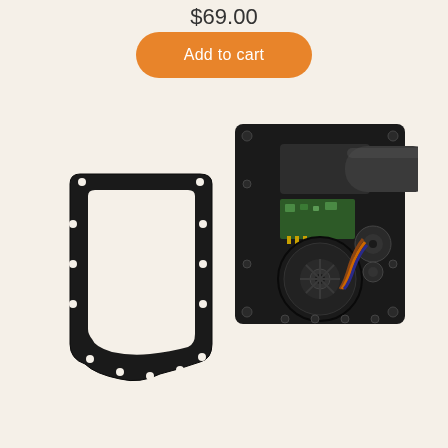$69.00
Add to cart
[Figure (photo): Product photo showing two mechanical components on a beige background: on the left, a black rubber gasket/seal with rounded rectangular shape and mounting holes; on the right, a black metal motor/actuator assembly mounted on a rectangular plate with a cylindrical motor body extending to the right, a circular fan/wheel component, circuit board, gears, and wiring visible.]